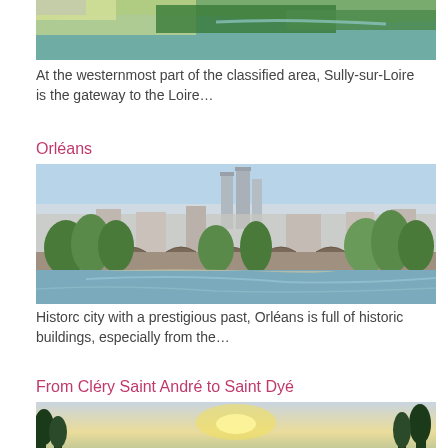[Figure (photo): Aerial view of Sully-sur-Loire showing the river Loire, fields, and town]
At the westernmost part of the classified area, Sully-sur-Loire is the gateway to the Loire…
Orléans
[Figure (photo): View of Orléans with a stone bridge over the Loire river, trees, and cathedral in background]
Historc city with a prestigious past, Orléans is full of historic buildings, especially from the…
From Cléry Saint André to Saint Dyé
[Figure (photo): Scenic view from Cléry Saint André area showing Loire valley landscape at dusk or dawn]